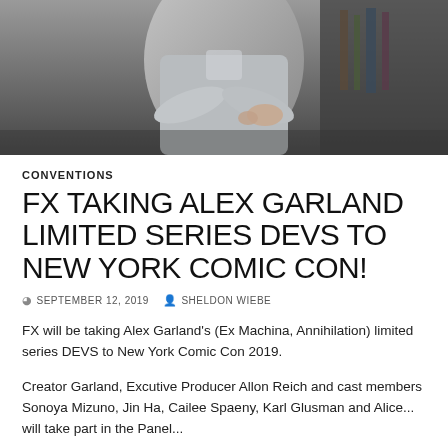[Figure (photo): Cropped photo of a person in a grey cardigan with arms crossed, photographed from chin down, dark blurred background]
CONVENTIONS
FX TAKING ALEX GARLAND LIMITED SERIES DEVS TO NEW YORK COMIC CON!
SEPTEMBER 12, 2019   SHELDON WIEBE
FX will be taking Alex Garland's (Ex Machina, Annihilation) limited series DEVS to New York Comic Con 2019.
Creator Garland, Excutive Producer Allon Reich and cast members Sonoya Mizuno, Jin Ha, Cailee Spaeny, Karl Glusman and Alice... will take part in the Panel...